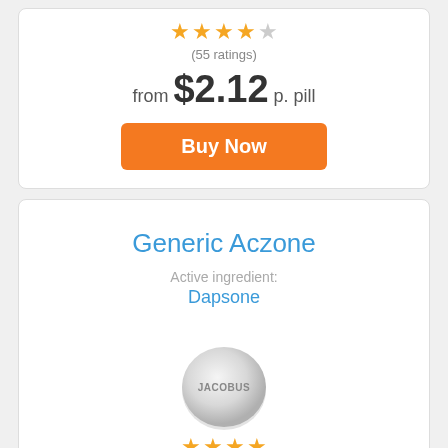★★★★☆ (55 ratings)
from $2.12 p. pill
Buy Now
Generic Aczone
Active ingredient: Dapsone
[Figure (photo): Round white tablet pill with 'JACOBUS' imprinted on it]
★★★★